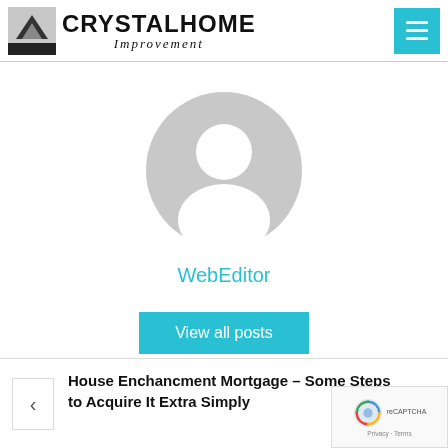CRYSTALHOME Improvement
[Figure (illustration): Generic user avatar silhouette — grey circle with white person icon]
WebEditor
View all posts
House Enchancment Mortgage – Some Steps to Acquire It Extra Simply